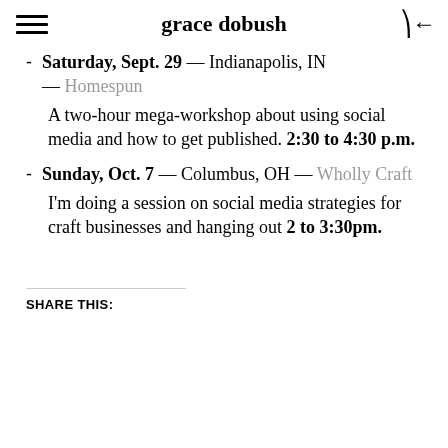grace dobush
Saturday, Sept. 29 — Indianapolis, IN — Homespun
A two-hour mega-workshop about using social media and how to get published. 2:30 to 4:30 p.m.
Sunday, Oct. 7 — Columbus, OH — Wholly Craft
I'm doing a session on social media strategies for craft businesses and hanging out 2 to 3:30pm.
SHARE THIS: